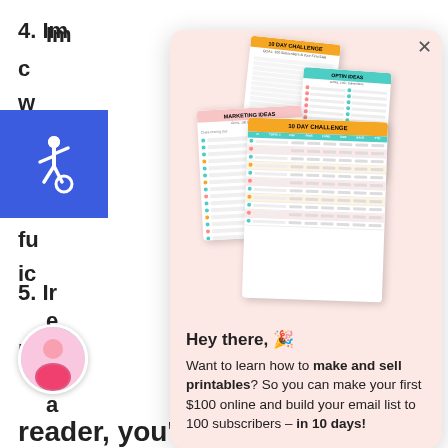4. Im...
[Figure (illustration): Accessibility wheelchair icon, white on blue square background]
5. Ir...
[Figure (screenshot): Popup overlay with pink background showing stacked printable documents: 10 Day Challenge, Optin Ideas, Marketing Ideas, and 10 Day Challenge table. Below the images: Hey there, Want to learn how to make and sell printables? So you can make your first $100 online and build your email list to 100 subscribers – in 10 days!]
reader, you're good.